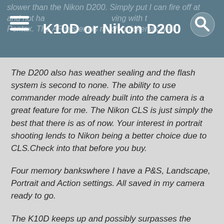K10D or Nikon D200
The D200 also has weather sealing and the flash system is second to none. The ability to use commander mode already built into the camera is a great feature for me. The Nikon CLS is just simply the best that there is as of now. Your interest in portrait shooting lends to Nikon being a better choice due to CLS.Check into that before you buy.
Four memory bankswhere I have a P&S, Landscape, Portrait and Action settings. All saved in my camera ready to go.
The K10D keeps up and possibly surpasses the D200 in other styles of shooting but I can't really say that since I have not taken one on for a spin or purchased one. I optedfor a second D200 body instead and in trade for my